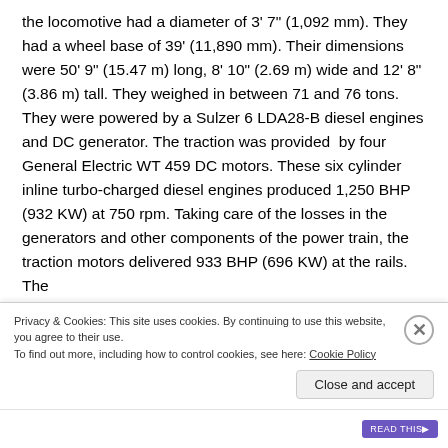the locomotive had a diameter of 3' 7" (1,092 mm). They had a wheel base of 39' (11,890 mm). Their dimensions were 50' 9" (15.47 m) long, 8' 10" (2.69 m) wide and 12' 8" (3.86 m) tall. They weighed in between 71 and 76 tons. They were powered by a Sulzer 6 LDA28-B diesel engines and DC generator. The traction was provided  by four General Electric WT 459 DC motors. These six cylinder inline turbo-charged diesel engines produced 1,250 BHP (932 KW) at 750 rpm. Taking care of the losses in the generators and other components of the power train, the traction motors delivered 933 BHP (696 KW) at the rails. The
Privacy & Cookies: This site uses cookies. By continuing to use this website, you agree to their use.
To find out more, including how to control cookies, see here: Cookie Policy